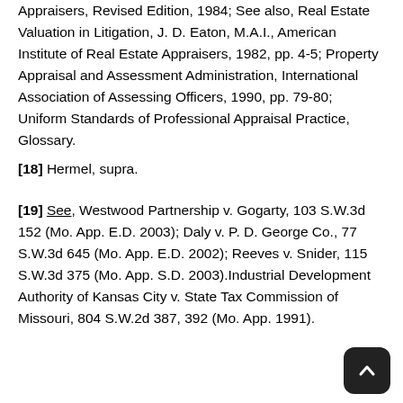Appraisers, Revised Edition, 1984; See also, Real Estate Valuation in Litigation, J. D. Eaton, M.A.I., American Institute of Real Estate Appraisers, 1982, pp. 4-5; Property Appraisal and Assessment Administration, International Association of Assessing Officers, 1990, pp. 79-80; Uniform Standards of Professional Appraisal Practice, Glossary.
[18] Hermel, supra.
[19] See, Westwood Partnership v. Gogarty, 103 S.W.3d 152 (Mo. App. E.D. 2003); Daly v. P. D. George Co., 77 S.W.3d 645 (Mo. App. E.D. 2002); Reeves v. Snider, 115 S.W.3d 375 (Mo. App. S.D. 2003).Industrial Development Authority of Kansas City v. State Tax Commission of Missouri, 804 S.W.2d 387, 392 (Mo. App. 1991).